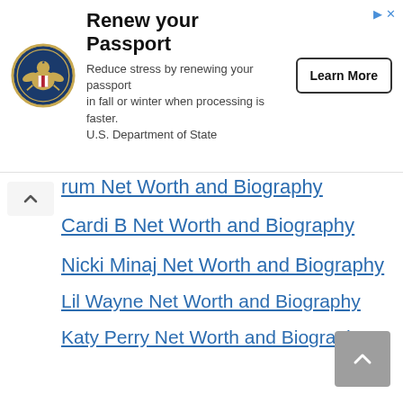[Figure (infographic): U.S. Department of State advertisement banner: 'Renew your Passport' with eagle seal logo, body text about renewing in fall or winter, and a 'Learn More' button. Ad attribution icons top right.]
...rum Net Worth and Biography (partially visible)
Cardi B Net Worth and Biography
Nicki Minaj Net Worth and Biography
Lil Wayne Net Worth and Biography
Katy Perry Net Worth and Biography
Jack Harlow Net Worth and Biography
Chris Brown Net Worth and Biography
Cristiano Ronaldo Net Worth and Biography
The Weeknd Net Worth and Biography